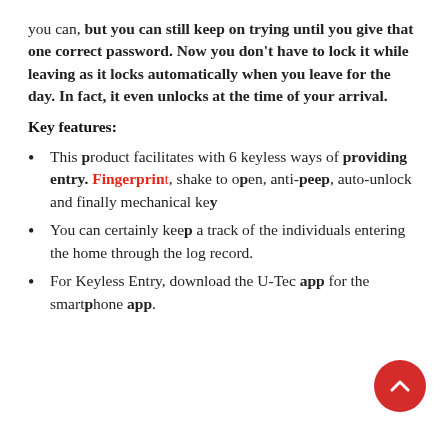you can, but you can still keep on trying until you give that one correct password. Now you don't have to lock it while leaving as it locks automatically when you leave for the day. In fact, it even unlocks at the time of your arrival.
Key features:
This product facilitates with 6 keyless ways of providing entry. Fingerprint, shake to open, anti-peep, auto-unlock and finally mechanical key
You can certainly keep a track of the individuals entering the home through the log record.
For Keyless Entry, download the U-Tec app for the smartphone app.